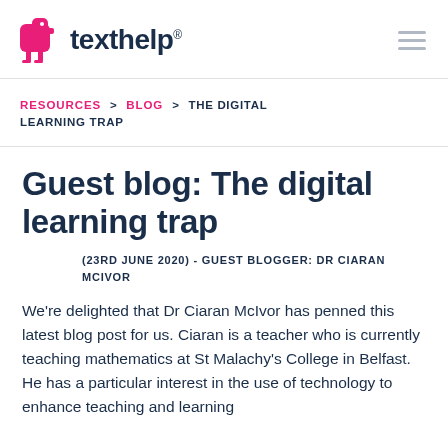[Figure (logo): Texthelp logo with pink bird icon and dark blue 'texthelp' wordmark with registered trademark symbol]
RESOURCES > BLOG > THE DIGITAL LEARNING TRAP
Guest blog: The digital learning trap
(23RD JUNE 2020) - GUEST BLOGGER: DR CIARAN MCIVOR
We're delighted that Dr Ciaran McIvor has penned this latest blog post for us. Ciaran is a teacher who is currently teaching mathematics at St Malachy's College in Belfast. He has a particular interest in the use of technology to enhance teaching and learning